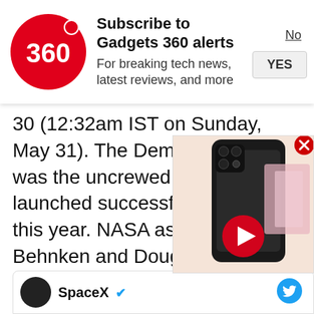[Figure (logo): Gadgets 360 logo — red circle with '360' text and a red dot]
Subscribe to Gadgets 360 alerts
For breaking tech news, latest reviews, and more
No
YES
30 (12:32am IST on Sunday, May 31). The Demo-1 mission was the uncrewed test flight that launched successfully in March this year. NASA astronauts Bob Behnken and Doug Hurley will be taken to the ISS onboard the Crew Dragon spacecraft.
In this article, we are listing down ev... you need to know about this space m... important, and where you can you w...
[Figure (screenshot): Embedded video overlay showing a smartphone (dark phone with camera array) and a play button, with a close (X) button in the top right corner]
SpaceX